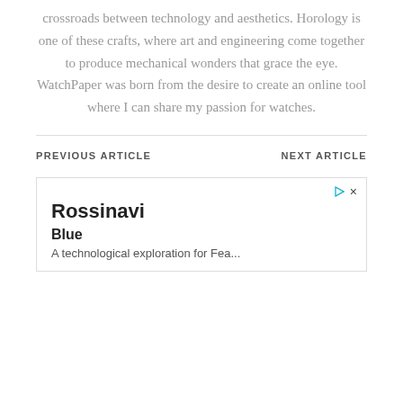crossroads between technology and aesthetics. Horology is one of these crafts, where art and engineering come together to produce mechanical wonders that grace the eye. WatchPaper was born from the desire to create an online tool where I can share my passion for watches.
PREVIOUS ARTICLE
NEXT ARTICLE
[Figure (other): Advertisement box with play and close icons, showing brand name Rossinavi, subtitle Blue, and partial description text A technological exploration for Fea...]
Rossinavi
Blue
A technological exploration for Fea...